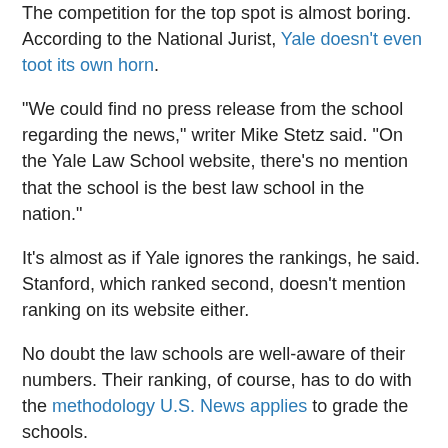The competition for the top spot is almost boring. According to the National Jurist, Yale doesn't even toot its own horn.
"We could find no press release from the school regarding the news," writer Mike Stetz said. "On the Yale Law School website, there's no mention that the school is the best law school in the nation."
It's almost as if Yale ignores the rankings, he said. Stanford, which ranked second, doesn't mention ranking on its website either.
No doubt the law schools are well-aware of their numbers. Their ranking, of course, has to do with the methodology U.S. News applies to grade the schools.
Where's No. 3?
Harvard, which used to be No. 2, has fallen a notch to No. 3 in recent years. It may have to do with another competition: